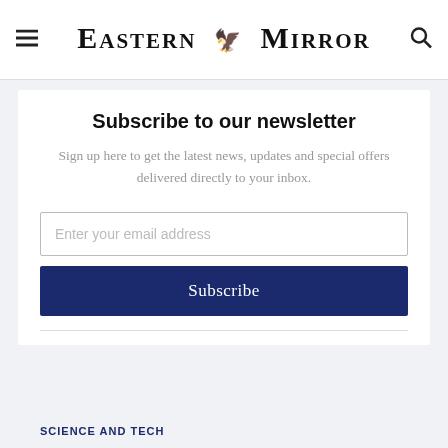Eastern Mirror
Subscribe to our newsletter
Sign up here to get the latest news, updates and special offers delivered directly to your inbox.
Enter your email address
Subscribe
SCIENCE AND TECH